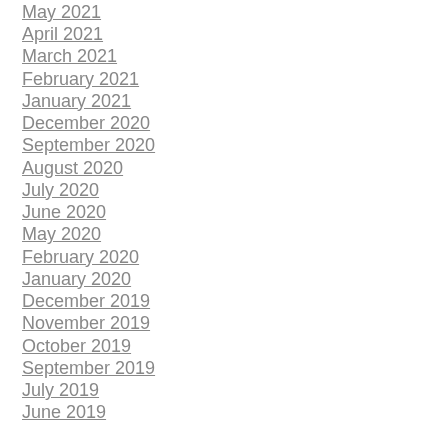May 2021
April 2021
March 2021
February 2021
January 2021
December 2020
September 2020
August 2020
July 2020
June 2020
May 2020
February 2020
January 2020
December 2019
November 2019
October 2019
September 2019
July 2019
June 2019